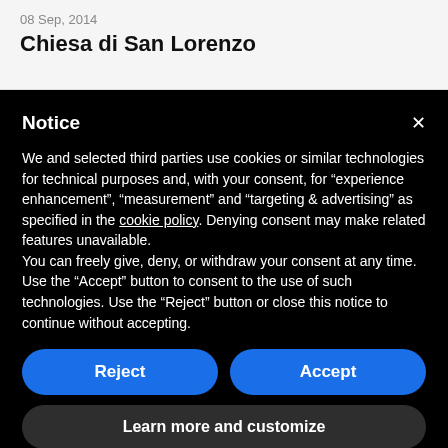08 Sep, 2014
Chiesa di San Lorenzo
Notice
We and selected third parties use cookies or similar technologies for technical purposes and, with your consent, for “experience enhancement”, “measurement” and “targeting & advertising” as specified in the cookie policy. Denying consent may make related features unavailable.
You can freely give, deny, or withdraw your consent at any time.
Use the “Accept” button to consent to the use of such technologies. Use the “Reject” button or close this notice to continue without accepting.
Reject
Accept
Learn more and customize